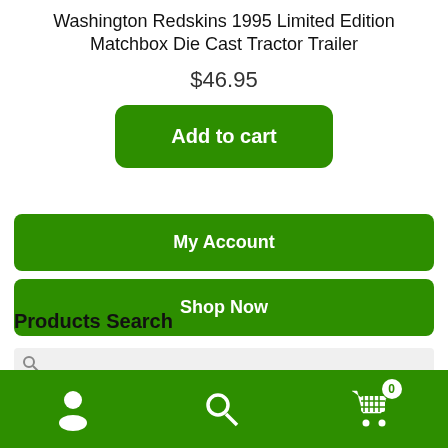Washington Redskins 1995 Limited Edition Matchbox Die Cast Tractor Trailer
$46.95
Add to cart
My Account
Shop Now
Products Search
Account | Search | Cart (0)